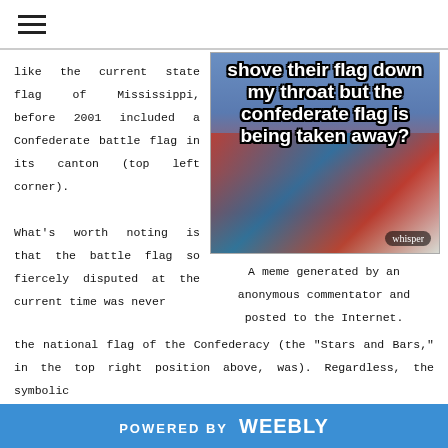☰ (hamburger menu icon)
like the current state flag of Mississippi, before 2001 included a Confederate battle flag in its canton (top left corner).
[Figure (photo): A meme image showing someone wrapped in a Confederate flag with text overlaid: 'shove their flag down my throat but the confederate flag is being taken away?' with a 'whisper' badge in the bottom right corner.]
A meme generated by an anonymous commentator and posted to the Internet.
What's worth noting is that the battle flag so fiercely disputed at the current time was never the national flag of the Confederacy (the "Stars and Bars," in the top right position above, was). Regardless, the symbolic
POWERED BY weebly